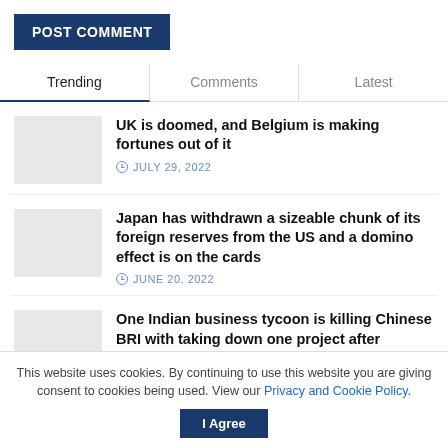POST COMMENT
Trending | Comments | Latest
UK is doomed, and Belgium is making fortunes out of it
JULY 29, 2022
Japan has withdrawn a sizeable chunk of its foreign reserves from the US and a domino effect is on the cards
JUNE 20, 2022
One Indian business tycoon is killing Chinese BRI with taking down one project after another
This website uses cookies. By continuing to use this website you are giving consent to cookies being used. View our Privacy and Cookie Policy.